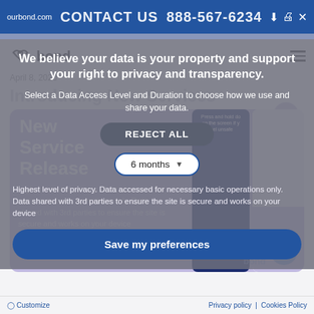ourbond.com  CONTACT US  888-567-6234
[Figure (screenshot): Bond website page showing navigation bar with logo and hamburger menu, date April 8 2020, section title Introducing New Services, and purple block with New Service Release text and app screenshots]
We believe your data is your property and support your right to privacy and transparency.
Select a Data Access Level and Duration to choose how we use and share your data.
REJECT ALL
6 months
Highest level of privacy. Data accessed for necessary basic operations only. Data shared with 3rd parties to ensure the site is secure and works on your device
Save my preferences
Customize   Privacy policy   Cookies Policy